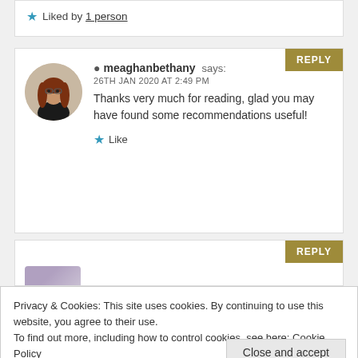★ Liked by 1 person
meaghanbethany says:
26TH JAN 2020 AT 2:49 PM
Thanks very much for reading, glad you may have found some recommendations useful!
★ Like
Privacy & Cookies: This site uses cookies. By continuing to use this website, you agree to their use.
To find out more, including how to control cookies, see here: Cookie Policy
Close and accept